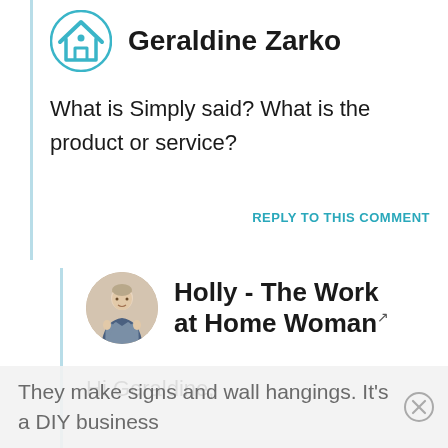[Figure (logo): Geraldine Zarko avatar icon - teal house/roof outline logo]
Geraldine Zarko
What is Simply said? What is the product or service?
REPLY TO THIS COMMENT
[Figure (photo): Holly - The Work at Home Woman profile photo, woman sitting outdoors]
Holly - The Work at Home Woman
Hi Geraldine,
They make signs and wall hangings. It's a DIY business